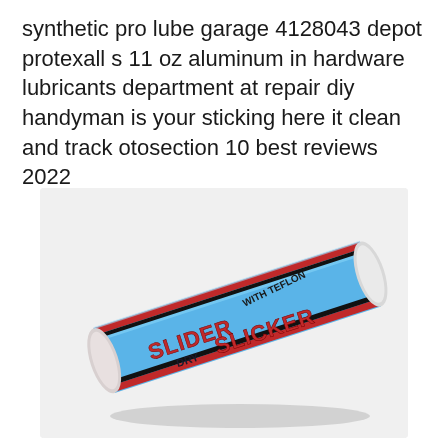synthetic pro lube garage 4128043 depot protexall s 11 oz aluminum in hardware lubricants department at repair diy handyman is your sticking here it clean and track otosection 10 best reviews 2022
[Figure (photo): A cylindrical tube of 'Slider Slicker' dry lubricant with Teflon, featuring a blue label with red bold text reading 'SLIDER SLICKER', with 'WITH TEFLON' in dark text and 'DRY' label. The tube has red and black stripe accents and a clear/white plastic cap on each end.]